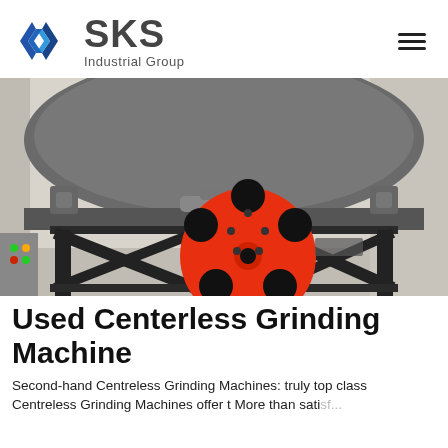SKS Industrial Group
[Figure (photo): A used centerless grinding machine with a large red flywheel/pulley wheel with holes, mounted on a black steel frame. The upper portion shows a large grey circular grinding body. The machine is photographed in an industrial setting.]
Used Centerless Grinding Machine
Second-hand Centreless Grinding Machines: truly top class Centreless Grinding Machines offer t More than sati...